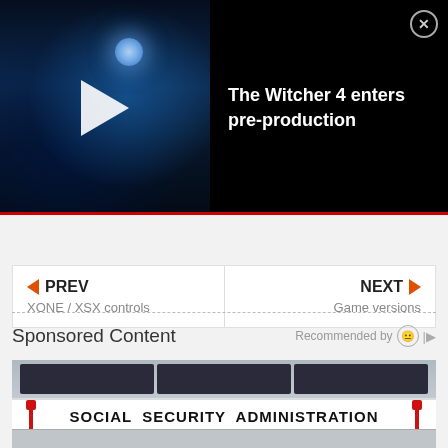[Figure (screenshot): Video thumbnail showing dark fantasy scene with moonlit silhouette, play button overlay]
The Witcher 4 enters pre-production
◀ PREV
XONE / XSX controls
NEXT ▶
Game versions
Sponsored Content
Recommended by
[Figure (photo): Social Security Administration building exterior with sign reading SOCIAL SECURITY ADMINISTRATION]